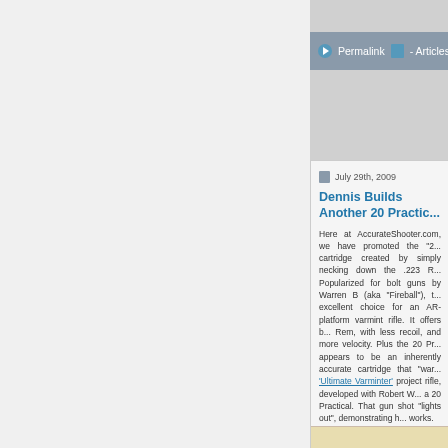Permalink  - Articles, News  8 Comments
July 29th, 2009
Dennis Builds Another 20 Practic...
Here at AccurateShooter.com, we have promoted the "2... cartridge created by simply necking down the .223 R... Popularized for bolt guns by Warren B (aka "Fireball"), t... excellent choice for an AR-platform varmint rifle. It offers b... Rem, with less recoil, and more velocity. Plus the 20 Pr... appears to be an inherently accurate cartridge that "war... 'Ultimate Varminter' project rifle, developed with Robert W... a 20 Practical. That gun shot "lights out", demonstrating h... works.
Forum member 'Dennis in VA' recently put together his ow... premium components. Dennis took his impressive new gu... and it looks to be a tack-driver. Check out the target be... BlitzKing bullets. That's three shots in 0.375" edge-to-ed... regarding this H335 load, we advise to start 10% low and ...